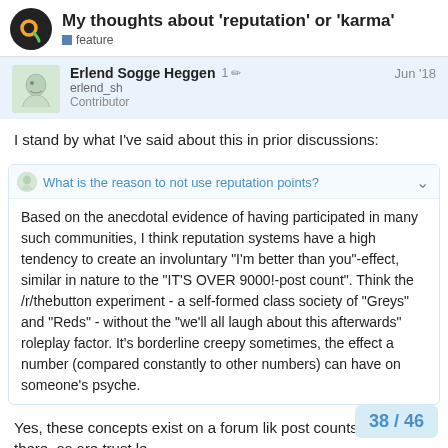My thoughts about 'reputation' or 'karma' — feature
Erlend Sogge Heggen
erlend_sh
Contributor
1 ✏ Jun '18
I stand by what I've said about this in prior discussions:
What is the reason to not use reputation points?
Based on the anecdotal evidence of having participated in many such communities, I think reputation systems have a high tendency to create an involuntary "I'm better than you"-effect, similar in nature to the "IT'S OVER 9000!-post count". Think the /r/thebutton experiment - a self-formed class society of "Greys" and "Reds" - without the "we'll all laugh about this afterwards" roleplay factor. It's borderline creepy sometimes, the effect a number (compared constantly to other numbers) can have on someone's psyche.
Yes, these concepts exist on a forum lik post counts are still there, as are trust le
38 / 46